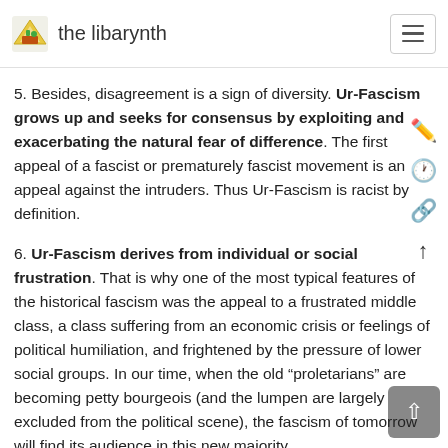the libarynth
5. Besides, disagreement is a sign of diversity. Ur-Fascism grows up and seeks for consensus by exploiting and exacerbating the natural fear of difference. The first appeal of a fascist or prematurely fascist movement is an appeal against the intruders. Thus Ur-Fascism is racist by definition.
6. Ur-Fascism derives from individual or social frustration. That is why one of the most typical features of the historical fascism was the appeal to a frustrated middle class, a class suffering from an economic crisis or feelings of political humiliation, and frightened by the pressure of lower social groups. In our time, when the old “proletarians” are becoming petty bourgeois (and the lumpen are largely excluded from the political scene), the fascism of tomorrow will find its audience in this new majority.
7. To people who feel deprived of a clear social